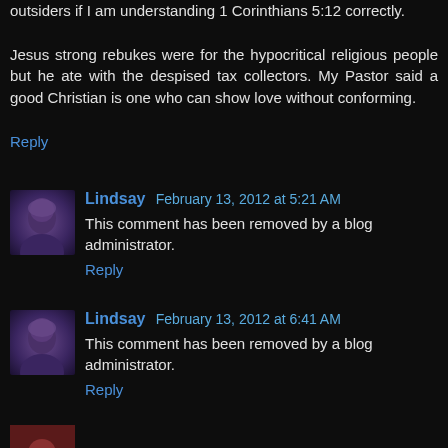outsiders if I am understanding 1 Corinthians 5:12 correctly.
Jesus strong rebukes were for the hypocritical religious people but he ate with the despised tax collectors. My Pastor said a good Christian is one who can show love without conforming.
Reply
Lindsay February 13, 2012 at 5:21 AM
This comment has been removed by a blog administrator.
Reply
Lindsay February 13, 2012 at 6:41 AM
This comment has been removed by a blog administrator.
Reply